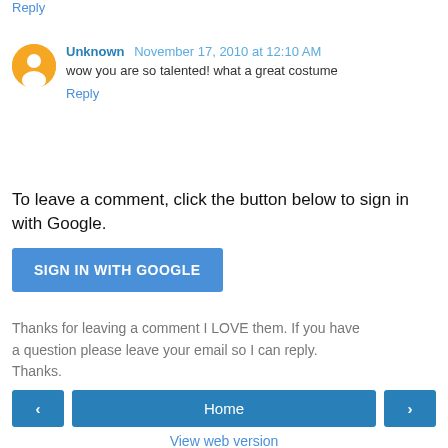Reply
Unknown  November 17, 2010 at 12:10 AM
wow you are so talented! what a great costume
Reply
To leave a comment, click the button below to sign in with Google.
SIGN IN WITH GOOGLE
Thanks for leaving a comment I LOVE them. If you have a question please leave your email so I can reply. Thanks.
‹   Home   ›
View web version